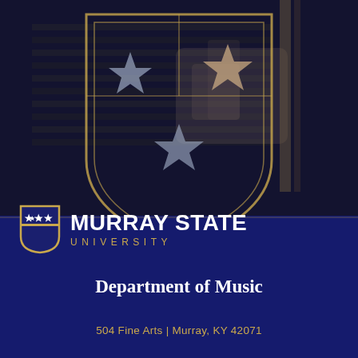[Figure (logo): Murray State University Department of Music cover page with large shield watermark over a piano keyboard photo background, featuring three stars arranged on shield. Lower half shows navy blue background with MSU shield logo, MURRAY STATE UNIVERSITY text, Department of Music, and address.]
MURRAY STATE UNIVERSITY
Department of Music
504 Fine Arts | Murray, KY 42071